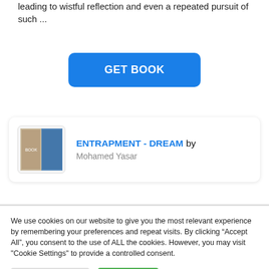leading to wistful reflection and even a repeated pursuit of such ...
[Figure (other): GET BOOK button — blue rounded rectangle with white bold text]
[Figure (other): Book card with thumbnail image and title ENTRAPMENT - DREAM by Mohamed Yasar]
We use cookies on our website to give you the most relevant experience by remembering your preferences and repeat visits. By clicking “Accept All”, you consent to the use of ALL the cookies. However, you may visit "Cookie Settings" to provide a controlled consent.
[Figure (other): Cookie consent buttons: Cookie Settings (gray) and Accept All (green)]